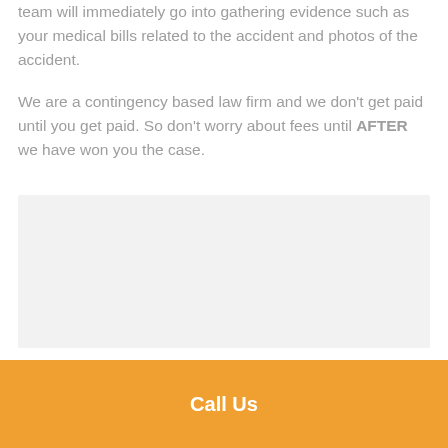team will immediately go into gathering evidence such as your medical bills related to the accident and photos of the accident.
We are a contingency based law firm and we don't get paid until you get paid. So don't worry about fees until AFTER we have won you the case.
[Figure (other): Light gray placeholder image box]
Call Us